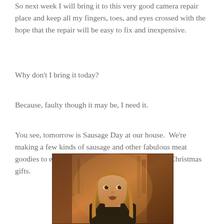So next week I will bring it to this very good camera repair place and keep all my fingers, toes, and eyes crossed with the hope that the repair will be easy to fix and inexpensive.
Why don't I bring it today?
Because, faulty though it may be, I need it.
You see, tomorrow is Sausage Day at our house.  We're making a few kinds of sausage and other fabulous meat goodies to either eat greedily ourselves or give as Christmas gifts.
[Figure (photo): A young girl with long blonde hair, mouth slightly open, standing in front of a warm-toned blurred background with wooden furniture visible.]